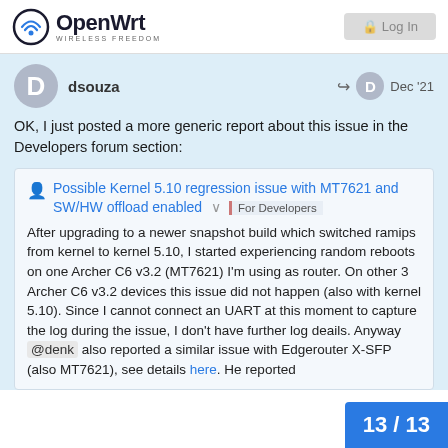OpenWrt — Wireless Freedom
dsouza — Dec '21
OK, I just posted a more generic report about this issue in the Developers forum section:
Possible Kernel 5.10 regression issue with MT7621 and SW/HW offload enabled | For Developers

After upgrading to a newer snapshot build which switched ramips from kernel to kernel 5.10, I started experiencing random reboots on one Archer C6 v3.2 (MT7621) I'm using as router. On other 3 Archer C6 v3.2 devices this issue did not happen (also with kernel 5.10). Since I cannot connect an UART at this moment to capture the log during the issue, I don't have further log deails. Anyway @denk also reported a similar issue with Edgerouter X-SFP (also MT7621), see details here. He reported
13 / 13